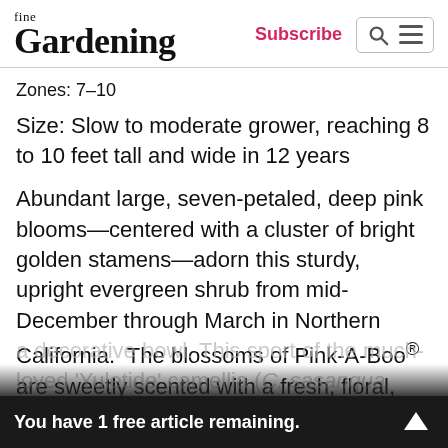fine Gardening | Subscribe
Zones: 7–10
Size: Slow to moderate grower, reaching 8 to 10 feet tall and wide in 12 years
Abundant large, seven-petaled, deep pink blooms—centered with a cluster of bright golden stamens—adorn this sturdy, upright evergreen shrub from mid-December through March in Northern California.  The blossoms of Pink-A-Boo® are sweetly scented with a fresh, floral, springtime perfume, making them perfect for bringing indoors for wintertime bouquets or for floating in a decorative bowl. This sport of the much-loved 'Yuletide' camellia (C. sasanqua 'Yuletide', Zones
You have 1 free article remaining.